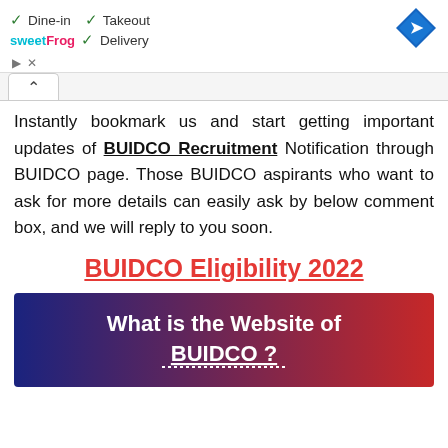[Figure (screenshot): Advertisement banner for sweetFrog showing Dine-in, Takeout, Delivery options with checkmarks and a blue navigation diamond icon]
Instantly bookmark us and start getting important updates of BUIDCO Recruitment Notification through BUIDCO page. Those BUIDCO aspirants who want to ask for more details can easily ask by below comment box, and we will reply to you soon.
BUIDCO Eligibility 2022
[Figure (infographic): Blue to red gradient banner asking 'What is the Website of BUIDCO?' in white bold text with dotted underline on BUIDCO]